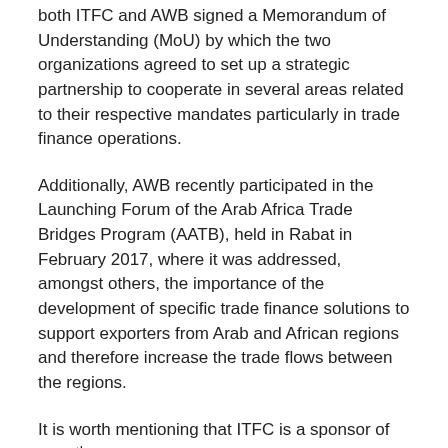both ITFC and AWB signed a Memorandum of Understanding (MoU) by which the two organizations agreed to set up a strategic partnership to cooperate in several areas related to their respective mandates particularly in trade finance operations.
Additionally, AWB recently participated in the Launching Forum of the Arab Africa Trade Bridges Program (AATB), held in Rabat in February 2017, where it was addressed, amongst others, the importance of the development of specific trade finance solutions to support exporters from Arab and African regions and therefore increase the trade flows between the regions.
It is worth mentioning that ITFC is a sponsor of the 5th International Africa Development Forum, where the theme of this year's forum is: “New Inclusive Growth Models in Africa”.
-Ends-